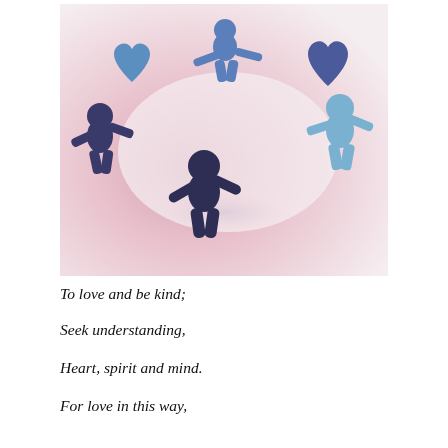[Figure (photo): Paper cut-out figures of people holding hands in a circle, alternating with heart shapes, against a pink and white background. The figures are shades of blue and dark blue/navy.]
To love and be kind;
Seek understanding,
Heart, spirit and mind.
For love in this way,